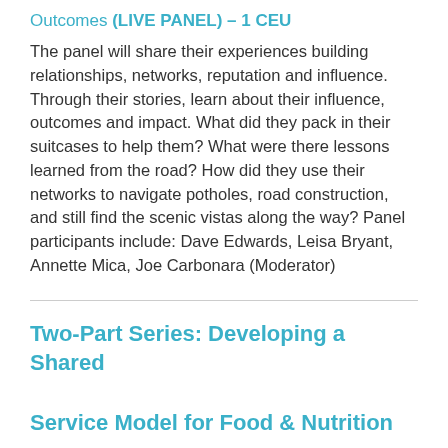Outcomes (LIVE PANEL) – 1 CEU
The panel will share their experiences building relationships, networks, reputation and influence. Through their stories, learn about their influence, outcomes and impact. What did they pack in their suitcases to help them? What were there lessons learned from the road? How did they use their networks to navigate potholes, road construction, and still find the scenic vistas along the way? Panel participants include: Dave Edwards, Leisa Bryant, Annette Mica, Joe Carbonara (Moderator)
Two-Part Series: Developing a Shared Service Model for Food & Nutrition